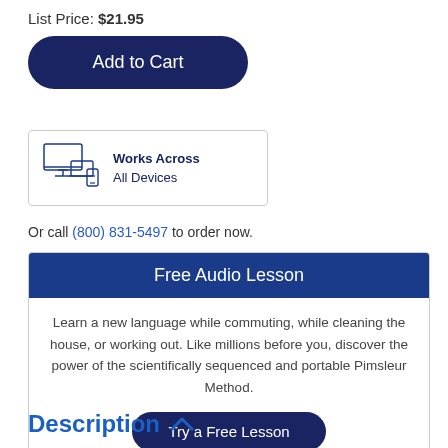List Price: $21.95
Add to Cart
[Figure (illustration): Works Across All Devices icon showing desktop monitor, laptop, and mobile phone]
Or call (800) 831-5497 to order now.
Free Audio Lesson
Learn a new language while commuting, while cleaning the house, or working out. Like millions before you, discover the power of the scientifically sequenced and portable Pimsleur Method.
Try a Free Lesson
Description